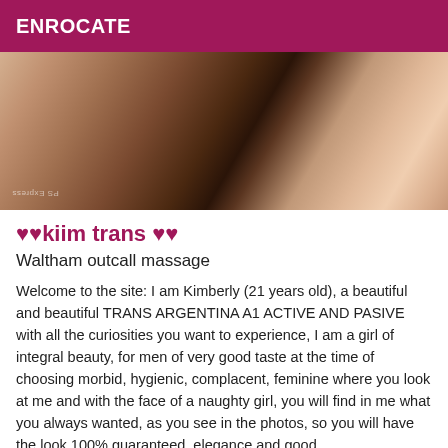ENROCATE
[Figure (photo): Close-up photograph with a PS Express watermark visible in the lower left corner]
♥♥kiim trans ♥♥
Waltham outcall massage
Welcome to the site: I am Kimberly (21 years old), a beautiful and beautiful TRANS ARGENTINA A1 ACTIVE AND PASIVE with all the curiosities you want to experience, I am a girl of integral beauty, for men of very good taste at the time of choosing morbid, hygienic, complacent, feminine where you look at me and with the face of a naughty girl, you will find in me what you always wanted, as you see in the photos, so you will have the look 100% guaranteed, elegance and good